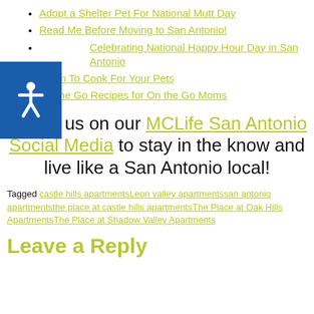Adopt a Shelter Pet For National Mutt Day
Read Me Before Moving to San Antonio!
Celebrating National Happy Hour Day in San Antonio
Learn To Cook For Your Pets
On the Go Recipes for On the Go Moms
Follow us on our MCLife San Antonio Social Media to stay in the know and live like a San Antonio local!
Tagged castle hills apartmentsLeon valley apartmentssan antonio apartmentsthe place at castle hills apartmentsThe Place at Oak Hills ApartmentsThe Place at Shadow Valley Apartments
Leave a Reply